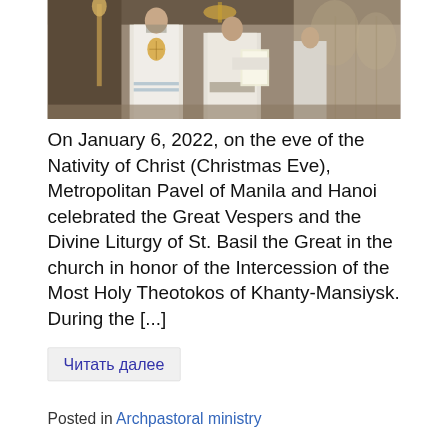[Figure (photo): Orthodox clergy in white vestments standing inside a church during a liturgical service, holding ritual items.]
On January 6, 2022, on the eve of the Nativity of Christ (Christmas Eve), Metropolitan Pavel of Manila and Hanoi celebrated the Great Vespers and the Divine Liturgy of St. Basil the Great in the church in honor of the Intercession of the Most Holy Theotokos of Khanty-Mansiysk. During the [...]
Читать далее
Posted in Archpastoral ministry